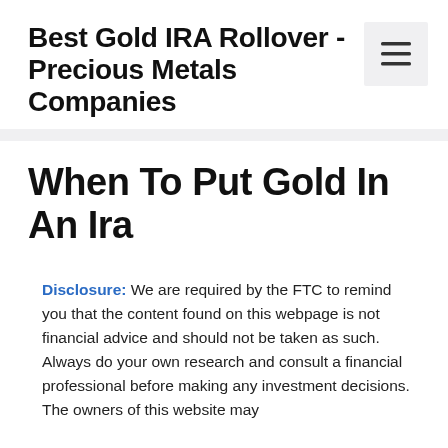Best Gold IRA Rollover - Precious Metals Companies
When To Put Gold In An Ira
Disclosure: We are required by the FTC to remind you that the content found on this webpage is not financial advice and should not be taken as such. Always do your own research and consult a financial professional before making any investment decisions. The owners of this website may